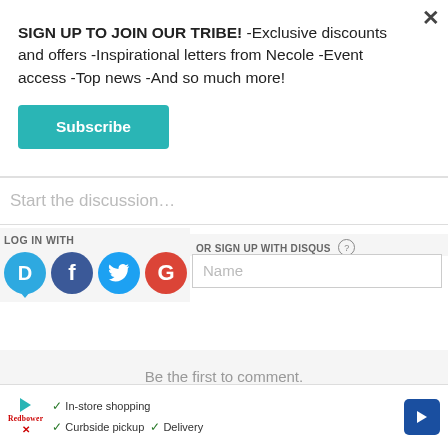SIGN UP TO JOIN OUR TRIBE! -Exclusive discounts and offers -Inspirational letters from Necole -Event access -Top news -And so much more!
Subscribe
Start the discussion…
LOG IN WITH
OR SIGN UP WITH DISQUS
Name
Be the first to comment.
In-store shopping  Curbside pickup  Delivery